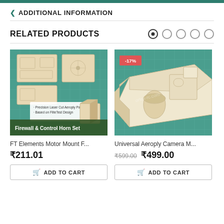ADDITIONAL INFORMATION
RELATED PRODUCTS
[Figure (photo): Product photo of FT Elements Motor Mount Firewall & Control Horn Set laser cut aeroply parts on green cutting mat]
FT Elements Motor Mount F...
₹211.01
ADD TO CART
[Figure (photo): Product photo of Universal Aeroply Camera Mount assembled on green cutting mat, with -17% discount badge]
Universal Aeroply Camera M...
₹599.00  ₹499.00
ADD TO CART